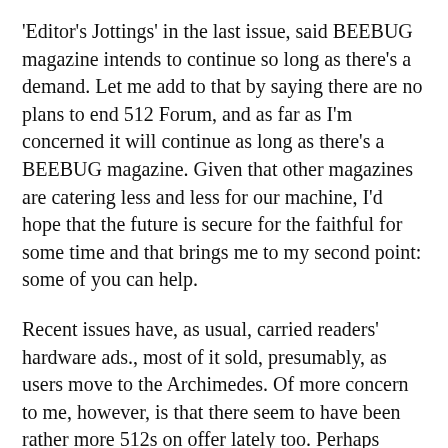'Editor's Jottings' in the last issue, said BEEBUG magazine intends to continue so long as there's a demand. Let me add to that by saying there are no plans to end 512 Forum, and as far as I'm concerned it will continue as long as there's a BEEBUG magazine. Given that other magazines are catering less and less for our machine, I'd hope that the future is secure for the faithful for some time and that brings me to my second point: some of you can help.
Recent issues have, as usual, carried readers' hardware ads., most of it sold, presumably, as users move to the Archimedes. Of more concern to me, however, is that there seem to have been rather more 512s on offer lately too. Perhaps some of them were purchased in Acorn's 'too good to miss' sale a year ago and their owners failed to get to grips with DOS, but that can't account for all of them.
My point is, if you sell your hardware make sure you